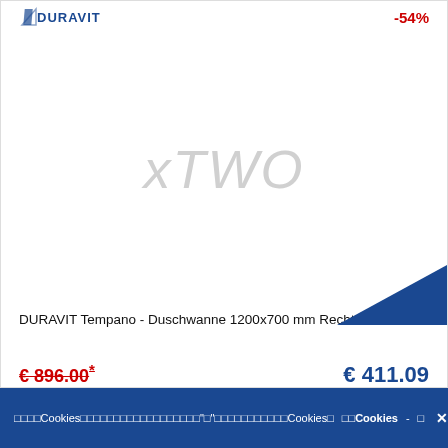[Figure (logo): DURAVIT logo with shield icon in blue]
-54%
[Figure (photo): Product image area showing xTWO watermark text in gray - DURAVIT Tempano shower tray]
DURAVIT Tempano - Duschwanne 1200x700 mm Rechteck weiß
€ 896.00*
€ 411.09
□□□□: □□□□□□□ □1□2□□□
□□□□: 720196000000000
□□□□Cookies□□□□□□□□□□□□□□□□□□"□"□□□□□□□□□□□Cookies□　□□Cookies - □　×